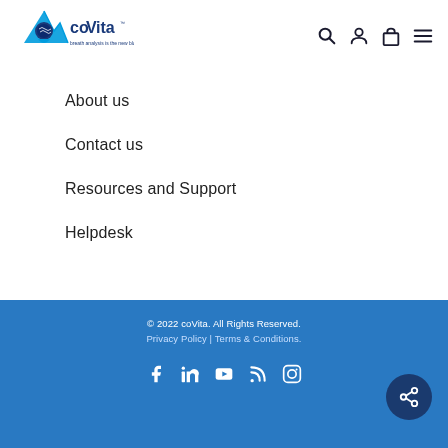[Figure (logo): coVita logo with text 'breath analysis is the new blood test']
About us
Contact us
Resources and Support
Helpdesk
© 2022 coVita. All Rights Reserved. Privacy Policy | Terms & Conditions.